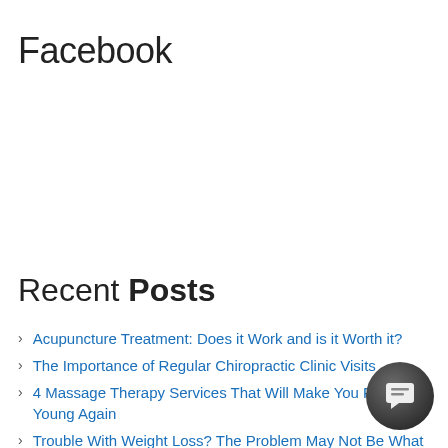Facebook
Recent Posts
Acupuncture Treatment: Does it Work and is it Worth it?
The Importance of Regular Chiropractic Clinic Visits
4 Massage Therapy Services That Will Make You Feel Young Again
Trouble With Weight Loss? The Problem May Not Be What You Think